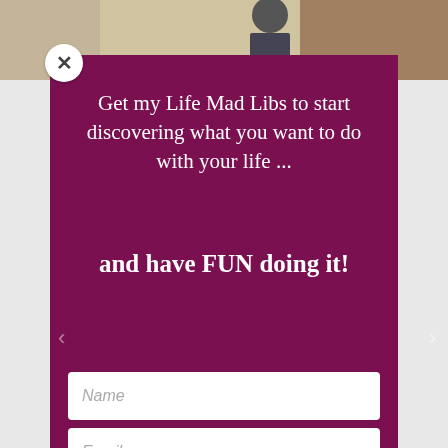[Figure (screenshot): Screenshot of a website popup/modal with a dark maroon background showing a newsletter signup form with headline text and two input fields for Name and Email.]
Get my Life Mad Libs to start discovering what you want to do with your life ...
and have FUN doing it!
Name
Email